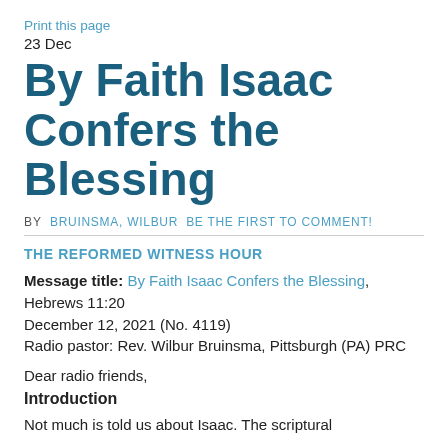Print this page
23 Dec
By Faith Isaac Confers the Blessing
BY  BRUINSMA, WILBUR  BE THE FIRST TO COMMENT!
THE REFORMED WITNESS HOUR
Message title: By Faith Isaac Confers the Blessing, Hebrews 11:20
December 12, 2021 (No. 4119)
Radio pastor: Rev. Wilbur Bruinsma, Pittsburgh (PA) PRC
Dear radio friends,
Introduction
Not much is told us about Isaac. The scriptural